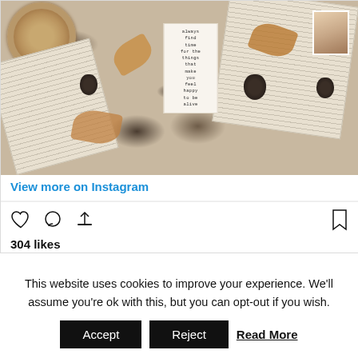[Figure (photo): Instagram post photo showing open books, autumn leaves, pinecones, twine/jute spool, and a handwritten bookmark card on a linen background. The bookmark reads: always find time for the things that make you feel happy to be alive]
View more on Instagram
304 likes
This website uses cookies to improve your experience. We'll assume you're ok with this, but you can opt-out if you wish.
Accept  Reject  Read More